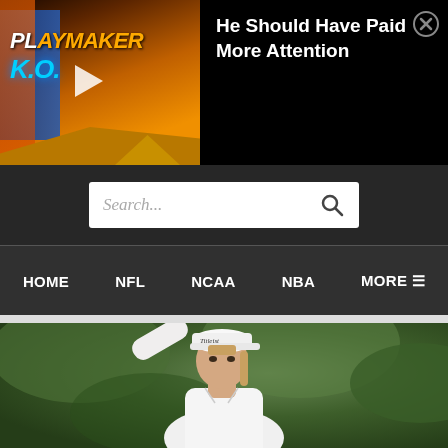[Figure (screenshot): Video thumbnail showing PLAYMAKER K.O. text with play button, orange/gold flames background with a colored jacket visible on left side]
He Should Have Paid More Attention
[Figure (screenshot): Search bar with placeholder text 'Search...' and magnifying glass icon on dark background]
[Figure (screenshot): Navigation bar with menu items: HOME, NFL, NCAA, NBA, MORE with hamburger icon]
[Figure (photo): Golfer wearing a white Titleist cap and white polo shirt, arm raised, photographed from below against green blurred foliage background]